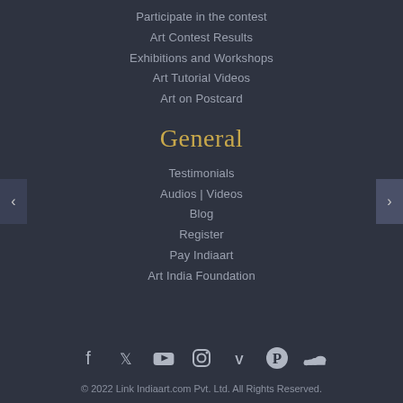Participate in the contest
Art Contest Results
Exhibitions and Workshops
Art Tutorial Videos
Art on Postcard
General
Testimonials
Audios | Videos
Blog
Register
Pay Indiaart
Art India Foundation
[Figure (other): Social media icons: Facebook, Twitter, YouTube, Instagram, Vimeo, Pinterest, SoundCloud]
© 2022 Link Indiaart.com Pvt. Ltd. All Rights Reserved.